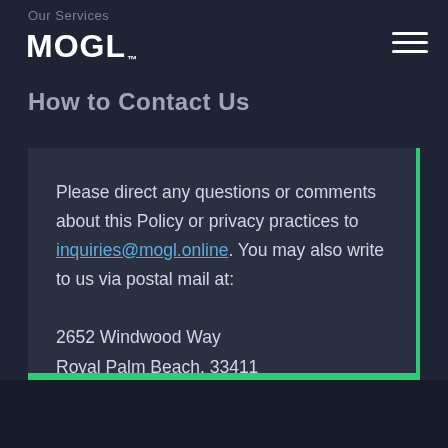Our Services
MOGL.
How to Contact Us
Please direct any questions or comments about this Policy or privacy practices to inquiries@mogl.online. You may also write to us via postal mail at:
2652 Windwood Way
Royal Palm Beach, 33411